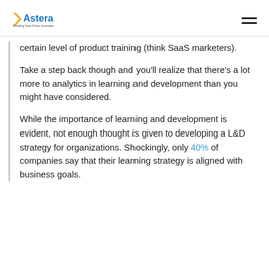Astera — Enabling Data-Driven Innovation
certain level of product training (think SaaS marketers).
Take a step back though and you'll realize that there's a lot more to analytics in learning and development than you might have considered.
While the importance of learning and development is evident, not enough thought is given to developing a L&D strategy for organizations. Shockingly, only 40% of companies say that their learning strategy is aligned with business goals.